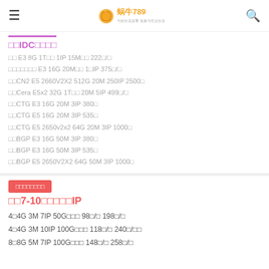蜗牛789
机房IDC服务器
成都 E3 8G 1T硬盘 1IP 15M月带 222元/月
成都单线多线路 E3 16G 20M带宽 1备IP 375元/月
香港CN2 E5 2660V2X2 512G 20M 250IP 2500元
台湾Cera E5x2 32G 1T带 20M 5IP 499元/月
南京CTG E3 16G 20M 3IP 380元
南京CTG E5 16G 20M 3IP 535元
南京CTG E5 2650v2x2 64G 20M 3IP 1000元
南京BGP E3 16G 50M 3IP 380元
南京BGP E3 16G 50M 3IP 535元
南京BGP E5 2650V2X2 64G 50M 3IP 1000元
租用7-10个独立IP
4核4G 3M 7IP 50G硬盘 98元/月 198元/月
4核4G 3M 10IP 100G硬盘 118元/月 240元/两月
8核8G 5M 7IP 100G硬盘 148元/月 258元/月